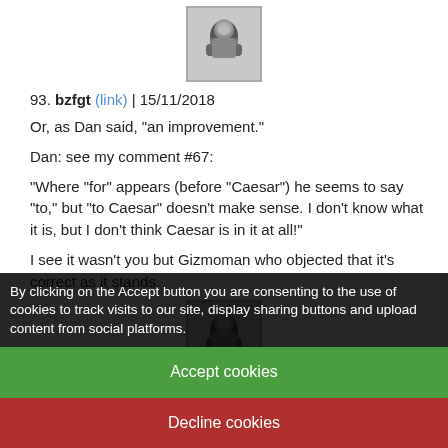[Figure (photo): Black and white avatar photo of user bzfgt, showing a bearded person]
93. bzfgt (link) | 15/11/2018
Or, as Dan said, "an improvement."
Dan: see my comment #67:
"Where "for" appears (before "Caesar") he seems to say "to," but "to Caesar" doesn't make sense. I don't know what it is, but I don't think Caesar is in it at all!"
I see it wasn't you but Gizmoman who objected that it's correct as it stands.
[Figure (photo): Black and white avatar photo of user bzfgt, showing a bearded person]
94. bzfgt (link) | 15/11/2018
Although if it's "intoned," the blue book is placed contemporarily. He might speak some English, retaining something of the Latin tune. Like a song or incantation, and the sense, and even the actual pronunciation, could drop out as
By clicking on the Accept button you are consenting to the use of cookies to track visits to our site, display sharing buttons and upload content from social platforms.
Accept cookies
Decline cookies